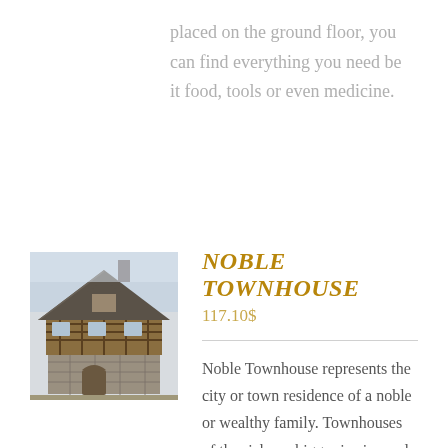placed on the ground floor, you can find everything you need be it food, tools or even medicine.
[Figure (illustration): Medieval-style multi-story townhouse building with stone and timber construction, rendered in a painterly style with muted tones]
Noble Townhouse
117.10$
Noble Townhouse represents the city or town residence of a noble or wealthy family. Townhouses of the rich are bigger in size and more elaborate than